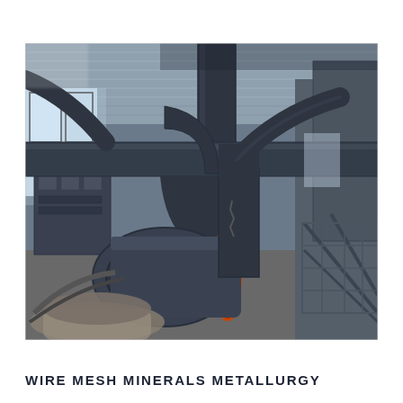[Figure (photo): Industrial facility interior showing large dark-painted ductwork, ventilation pipes, and industrial fans/blowers inside a metal-roofed building. Heavy machinery including a large centrifugal fan/blower in the foreground connected to curved ducting, with structural steel supports and equipment visible in the background under a corrugated metal roof with natural light coming through windows.]
WIRE MESH MINERALS METALLURGY